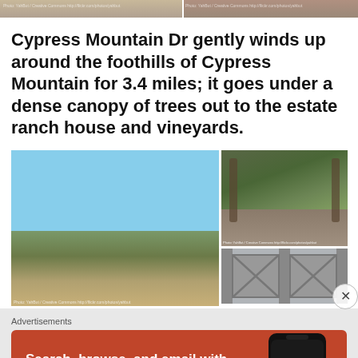[Figure (photo): Two landscape photos at top of page showing mountain/hillside terrain]
Cypress Mountain Dr gently winds up around the foothills of Cypress Mountain for 3.4 miles; it goes under a dense canopy of trees out to the estate ranch house and vineyards.
[Figure (photo): Large landscape photo of Cypress Mountain hillside with blue sky and scrub vegetation, plus two smaller photos on right: a tree-lined road and a metal gate entrance]
Advertisements
[Figure (infographic): DuckDuckGo advertisement banner - orange background with phone mockup. Text: Search, browse, and email with more privacy. All in One Free App. DuckDuckGo logo.]